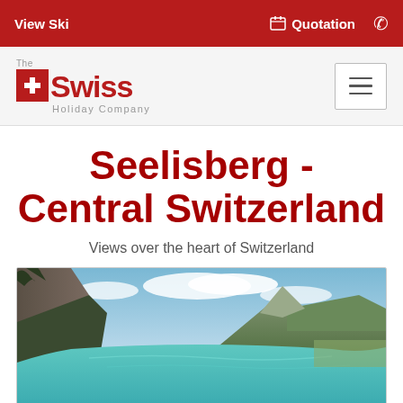View Ski | Quotation | (phone)
[Figure (logo): The Swiss Holiday Company logo with red cross emblem and red Swiss text, hamburger menu button on right]
Seelisberg - Central Switzerland
Views over the heart of Switzerland
[Figure (photo): Aerial panoramic photo of a Swiss Alpine lake (turquoise water) surrounded by mountains and green hillsides, likely Lake Lucerne area near Seelisberg]